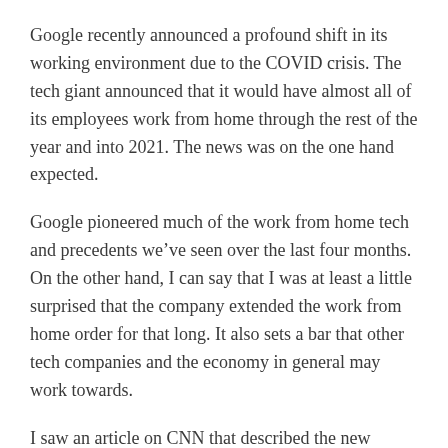Google recently announced a profound shift in its working environment due to the COVID crisis. The tech giant announced that it would have almost all of its employees work from home through the rest of the year and into 2021. The news was on the one hand expected.
Google pioneered much of the work from home tech and precedents we've seen over the last four months. On the other hand, I can say that I was at least a little surprised that the company extended the work from home order for that long. It also sets a bar that other tech companies and the economy in general may work towards.
I saw an article on CNN that described the new policy as a “game changer.”
They were advised by their office risk assessment consulting service to keep almost all employees at home